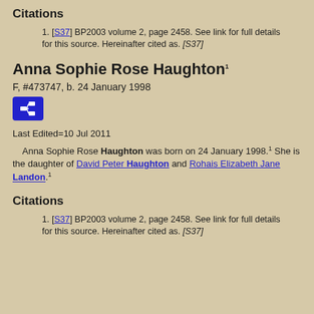Citations
1. [S37] BP2003 volume 2, page 2458. See link for full details for this source. Hereinafter cited as. [S37]
Anna Sophie Rose Haughton1
F, #473747, b. 24 January 1998
[Figure (other): Blue icon button with organizational chart / pedigree tree symbol]
Last Edited=10 Jul 2011
Anna Sophie Rose Haughton was born on 24 January 1998.1 She is the daughter of David Peter Haughton and Rohais Elizabeth Jane Landon.1
Citations
1. [S37] BP2003 volume 2, page 2458. See link for full details for this source. Hereinafter cited as. [S37]